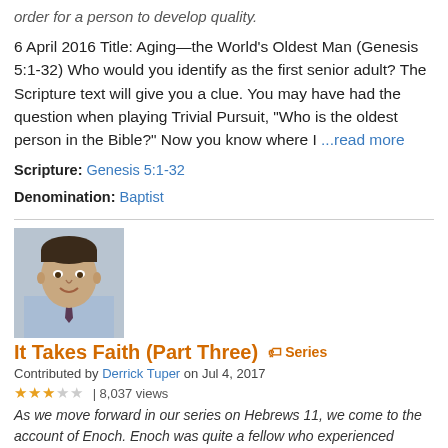order for a person to develop quality.
6 April 2016 Title: Aging—the World's Oldest Man (Genesis 5:1-32) Who would you identify as the first senior adult? The Scripture text will give you a clue. You may have had the question when playing Trivial Pursuit, "Who is the oldest person in the Bible?" Now you know where I ...read more
Scripture: Genesis 5:1-32
Denomination: Baptist
[Figure (photo): Headshot of a man in a light blue shirt and dark tie, smiling, with dark hair.]
It Takes Faith (Part Three) Series
Contributed by Derrick Tuper on Jul 4, 2017
3 out of 5 stars | 8,037 views
As we move forward in our series on Hebrews 11, we come to the account of Enoch. Enoch was quite a fellow who experienced something pretty extraordinary. In part three of what it takes faith